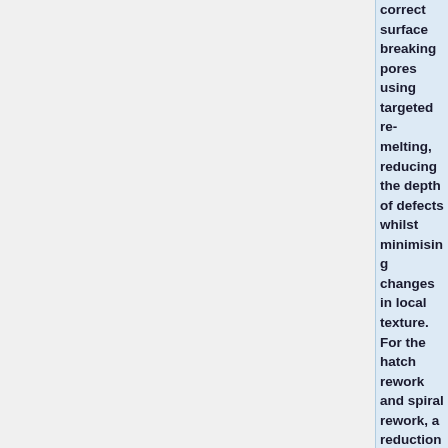correct surface breaking pores using targeted re-melting, reducing the depth of defects whilst minimising changes in local texture. For the hatch rework and spiral rework, a reduction in defect depth of 50% and 31% were observed, respectively, however, no improvement was seen after the single shot exposures. This